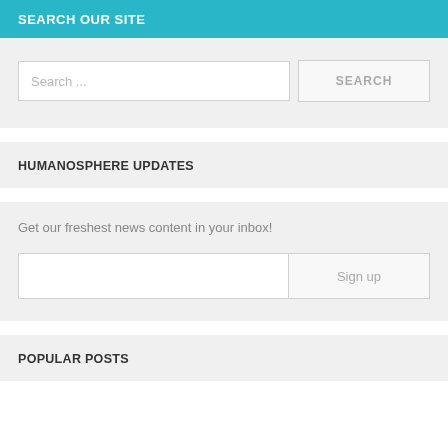SEARCH OUR SITE
Search ...
SEARCH
HUMANOSPHERE UPDATES
Get our freshest news content in your inbox!
Sign up
POPULAR POSTS